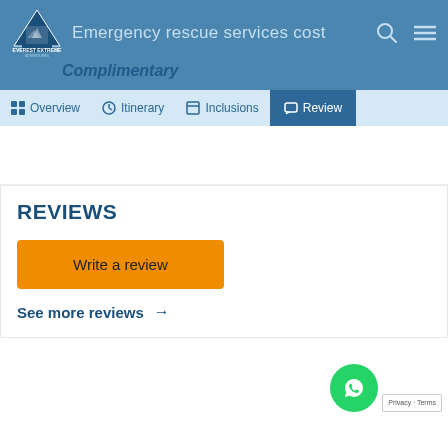Emergency rescue services cost
Complimentary
Overview | Itinerary | Inclusions | Review
REVIEWS
Write a review
See more reviews →